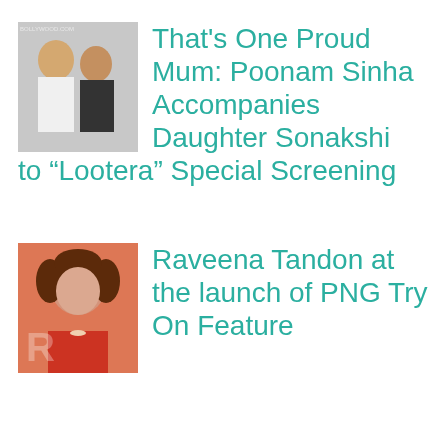[Figure (photo): Two women posing together, one kissing the other on the cheek, both in white outfits]
That's One Proud Mum: Poonam Sinha Accompanies Daughter Sonakshi to “Lootera” Special Screening
[Figure (photo): Woman with curly hair smiling, wearing red outfit, at an event]
Raveena Tandon at the launch of PNG Try On Feature